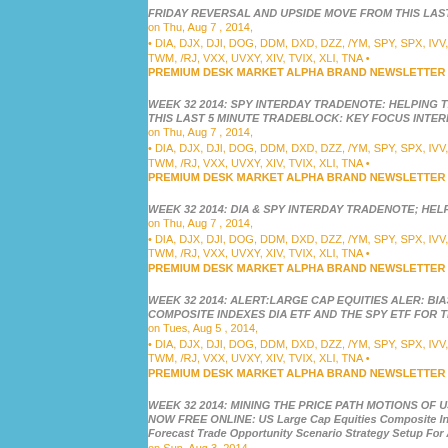FRIDAY REVERSAL AND UPSIDE MOVE FROM THIS LAST WEEK S... on Thu, Aug 7, 2014, • DIA, DJX, DJI, DOG, DDM, DXD, DZZ, /YM, SPY, SPX, IVV, IXIC, SS... TWM, /RJ, VXX, UVXY, XIV, TVIX, XLI, TNA • PREMIUM DESK MARKET ALPHA BRAND NEWSLETTER GROUP R...
WEEK 32 2014: SPY INTERDAY TRADENOTE: HELPING THE DAYT... THIS LAST 5 MINUTE TRADEBLOCK: KEY FOCUS INTEREST OPPO... on Thu, Aug 7, 2014, • DIA, DJX, DJI, DOG, DDM, DXD, DZZ, /YM, SPY, SPX, IVV, IXIC, SS... TWM, /RJ, VXX, UVXY, XIV, TVIX, XLI, TNA • PREMIUM DESK MARKET ALPHA BRAND NEWSLETTER GROUP R...
WEEK 32 2014: DIA & SPY INTERDAY TRADENOTE; HELPING THE... on Thu, Aug 7, 2014, • DIA, DJX, DJI, DOG, DDM, DXD, DZZ, /YM, SPY, SPX, IVV, IXIC, SS... TWM, /RJ, VXX, UVXY, XIV, TVIX, XLI, TNA • PREMIUM DESK MARKET ALPHA BRAND NEWSLETTER GROUP R...
WEEK 32 2014: ALERT:LARGE CAP EQUITIES ALER: BIAS CONTIN... COMPOSITE INDEXES DIA ETF AND THE SPY ETF FOR THIS WEE... on Tues, Aug 5, 2014, • DIA, DJX, DJI, DOG, DDM, DXD, DZZ, /YM, SPY, SPX, IVV, IXIC, SS... TWM, /RJ, VXX, UVXY, XIV, TVIX, XLI, TNA • PREMIUM DESK MARKET ALPHA BRAND NEWSLETTER GROUP R...
WEEK 32 2014: MINING THE PRICE PATH MOTIONS OF US LARGE... NOW FREE ONLINE: US Large Cap Equities Composite Indexes Watch: Forecast Trade Opportunity Scenario Strategy Setup For August 2014 We... on Sun, Aug 3, 2014,